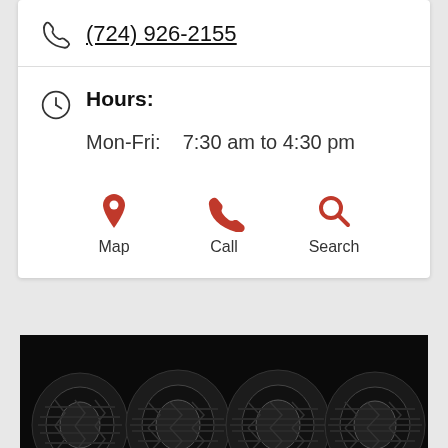(724) 926-2155
Hours:
Mon-Fri:    7:30 am to 4:30 pm
Map
Call
Search
[Figure (photo): Four black car/truck tires lined up side by side on a black background, viewed from the front, showing tread pattern detail.]